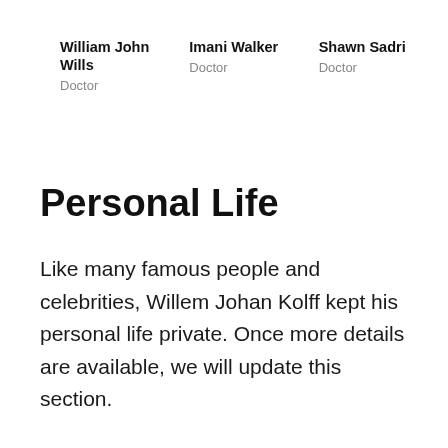William John Wills
Doctor
Imani Walker
Doctor
Shawn Sadri
Doctor
Personal Life
Like many famous people and celebrities, Willem Johan Kolff kept his personal life private. Once more details are available, we will update this section.